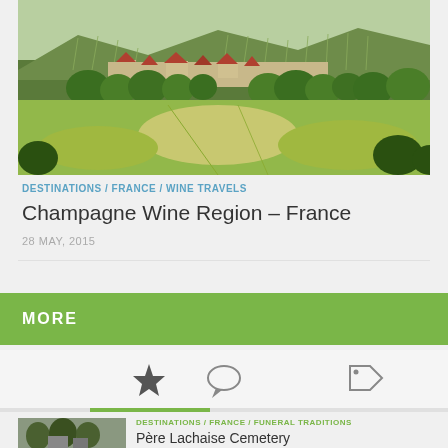[Figure (photo): Aerial/landscape view of Champagne wine region in France showing rolling hills with vineyards, a small village with red-roofed buildings, green trees and meadows in the foreground]
DESTINATIONS / FRANCE / WINE TRAVELS
Champagne Wine Region – France
28 MAY, 2015
MORE
[Figure (infographic): Three icons: a star (favorites), a speech bubble (comments), and a tag/label icon, with a green underline beneath the star icon]
DESTINATIONS / FRANCE / FUNERAL TRADITIONS
Père Lachaise Cemetery
[Figure (photo): Small thumbnail photo of Père Lachaise Cemetery showing trees and cemetery structures]